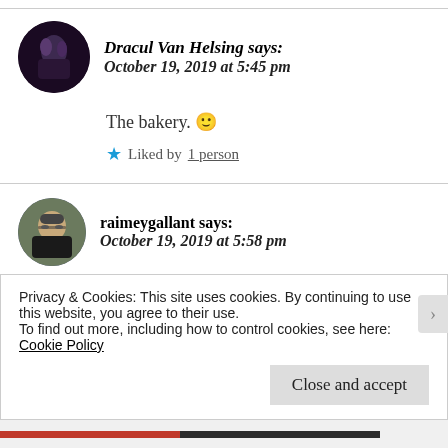Dracul Van Helsing says: October 19, 2019 at 5:45 pm
The bakery. 🙂
★ Liked by 1 person
raimeygallant says: October 19, 2019 at 5:58 pm
Privacy & Cookies: This site uses cookies. By continuing to use this website, you agree to their use. To find out more, including how to control cookies, see here: Cookie Policy
Close and accept